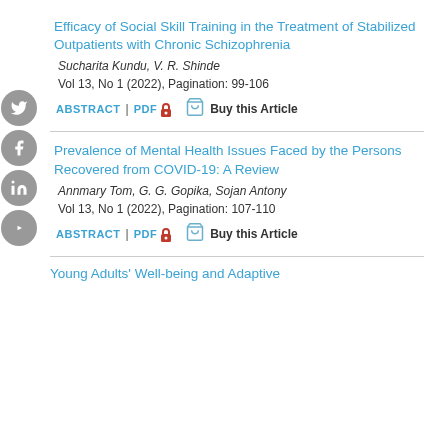[Figure (infographic): Vertical sidebar with social media icons: Twitter, Facebook, LinkedIn, YouTube — grey circles on left edge]
Efficacy of Social Skill Training in the Treatment of Stabilized Outpatients with Chronic Schizophrenia
Sucharita Kundu, V. R. Shinde
Vol 13, No 1 (2022), Pagination: 99-106
ABSTRACT | PDF 🔒 Buy this Article
Prevalence of Mental Health Issues Faced by the Persons Recovered from COVID-19: A Review
Annmary Tom, G. G. Gopika, Sojan Antony
Vol 13, No 1 (2022), Pagination: 107-110
ABSTRACT | PDF 🔒 Buy this Article
Young Adults' Well-being and Adaptive